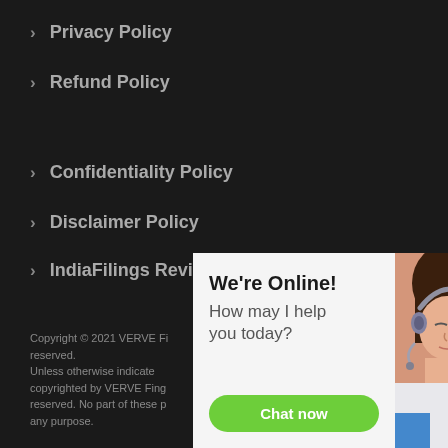Privacy Policy
Refund Policy
Confidentiality Policy
Disclaimer Policy
IndiaFilings Review
Copyright © 2021 VERVE Fi... reserved.
Unless otherwise indicate... copyrighted by VERVE Fing... reserved. No part of these p... any purpose.
[Figure (photo): Chat widget with online support agent photo, showing 'We're Online! How may I help you today?' and a green 'Chat now' button. A woman with a headset is shown on the right side.]